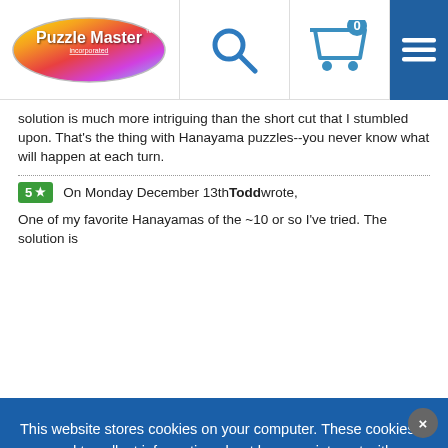[Figure (logo): Puzzle Master Incorporated logo — colorful oval with white text]
[Figure (illustration): Search magnifying glass icon]
[Figure (illustration): Shopping cart icon with badge showing 0]
[Figure (illustration): Hamburger menu icon on blue background]
solution is much more intriguing than the short cut that I stumbled upon. That's the thing with Hanayama puzzles--you never know what will happen at each turn.
5 ★  On Monday December 13th Todd wrote,
One of my favorite Hanayamas of the ~10 or so I've tried. The solution is
This website stores cookies on your computer. These cookies are used to collect information about how you interact with our website and allow us to remember you. We use this information in order to improve and customize your browsing experience and for analytics and metrics about our visitors both on this website and other media. To find out more about the cookies we use, see our Privacy Policy. If you continue to use this site we will assume that you acknowledge & approve.
I AGREE